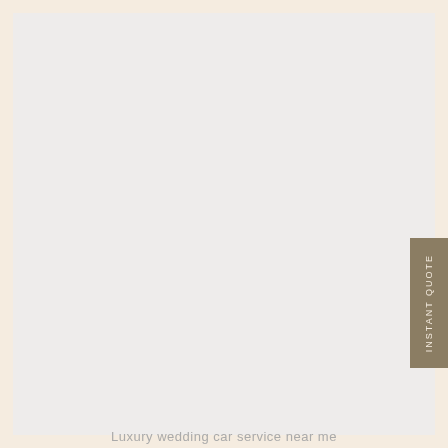[Figure (other): Large light grey/off-white rectangular area occupying most of the page, set against a warm cream/beige background.]
INSTANT QUOTE
Luxury wedding car service near me